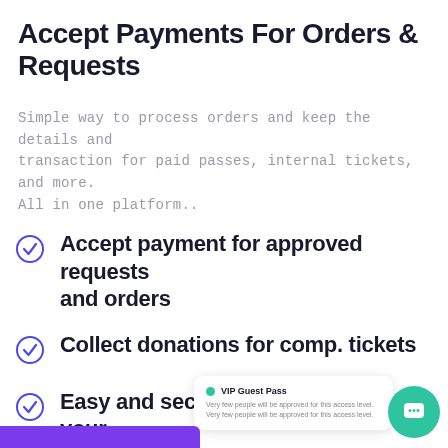Accept Payments For Orders & Requests
Simple way to process orders and keep the details and transaction for paid passes, internal tickets, and more. All in one platform..
Accept payment for approved requests and orders
Collect donations for comp. tickets
Easy and secure integration with your Stripe account
[Figure (screenshot): Partial UI card showing VIP Guest Pass label with green dot and small descriptive text. A teal chat button circle appears at bottom right. A purple bar is at bottom left.]